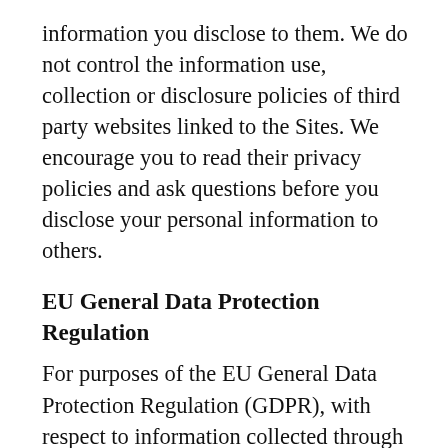information you disclose to them. We do not control the information use, collection or disclosure policies of third party websites linked to the Sites. We encourage you to read their privacy policies and ask questions before you disclose your personal information to others.
EU General Data Protection Regulation
For purposes of the EU General Data Protection Regulation (GDPR), with respect to information collected through the Sites, we are generally the data controller and you may contact us at the contact information set forth below.  We use, process, or share your Personal Information upon the lawful basis of contract, consent, legal obligation, and/or our legitimate interests, as described above.  GDPR provides EU residents rights to review, correct, and remove your Personal Information.  When these rights apply to